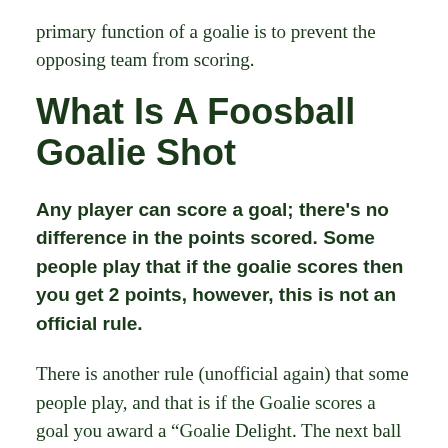primary function of a goalie is to prevent the opposing team from scoring.
What Is A Foosball Goalie Shot
Any player can score a goal; there's no difference in the points scored. Some people play that if the goalie scores then you get 2 points, however, this is not an official rule.
There is another rule (unofficial again) that some people play, and that is if the Goalie scores a goal you award a "Goalie Delight. The next ball served is dropped in your defensive zone instead of having it served as usual, and